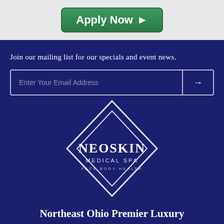[Figure (other): Green 'Apply Now' button with right arrow on light gray background]
Join our mailing list for our specials and event news.
[Figure (other): Email input form field with placeholder 'Enter Your Email Address' and submit arrow button, on dark navy background]
[Figure (logo): NeoSkin Medical Spa logo — diamond/rhombus outline shape with text NEOSKIN MEDICAL SPA FACE BODY HEALTH inside, white on navy]
Northeast Ohio Premier Luxury